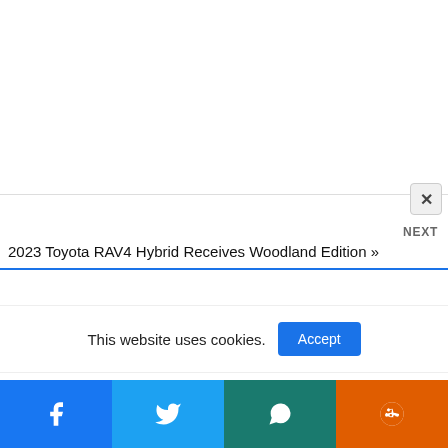[Figure (screenshot): White advertisement area at top of page, approximately half the page height]
[Figure (screenshot): Close (X) button in gray rounded square, positioned top-right of modal overlay]
NEXT
2023 Toyota RAV4 Hybrid Receives Woodland Edition »
This website uses cookies.
[Figure (screenshot): Accept button in blue rectangle for cookie consent]
[Figure (infographic): Social media share bar with four colored sections: Facebook (blue), Twitter (light blue), WhatsApp (teal), Reddit (orange), each showing respective icon]